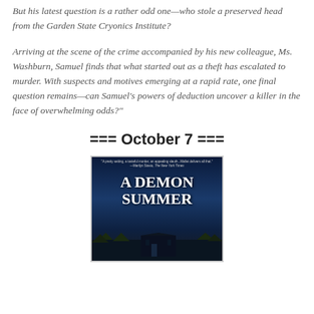But his latest question is a rather odd one—who stole a preserved head from the Garden State Cryonics Institute?
Arriving at the scene of the crime accompanied by his new colleague, Ms. Washburn, Samuel finds that what started out as a theft has escalated to murder. With suspects and motives emerging at a rapid rate, one final question remains—can Samuel's powers of deduction uncover a killer in the face of overwhelming odds?"
=== October 7 ===
[Figure (illustration): Book cover of 'A Demon Summer' with dark blue/night background featuring a gothic building silhouette and trees. Quote at top reads: 'A pretty setting, a tasteful murder, an appealing sleuth...Mallet delivers all that.' —Marilyn Stasio, The New York Times]